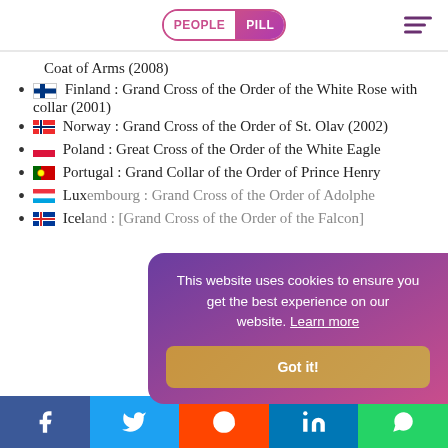PEOPLE PILL
Coat of Arms (2008)
Finland : Grand Cross of the Order of the White Rose with collar (2001)
Norway : Grand Cross of the Order of St. Olav (2002)
Poland : Great Cross of the Order of the White Eagle
Portugal : Grand Collar of the Order of Prince Henry
Luxembourg : [Order of Adolphe]
Iceland : [Order of the Falcon]
This website uses cookies to ensure you get the best experience on our website. Learn more
Got it!